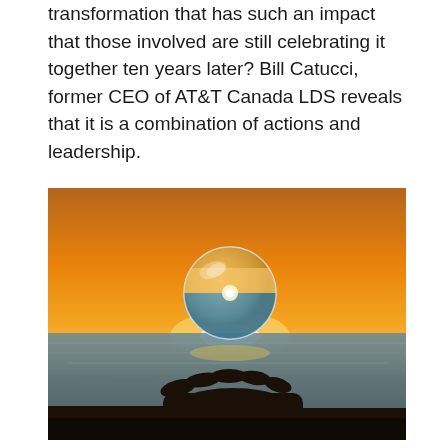transformation that has such an impact that those involved are still celebrating it together ten years later? Bill Catucci, former CEO of AT&T Canada LDS reveals that it is a combination of actions and leadership.
[Figure (photo): A hand silhouetted against a sunset sky holding a clear glass sphere/crystal ball that reflects the horizon and sunset scene. Ocean or water visible in the background with warm orange and golden sky tones.]